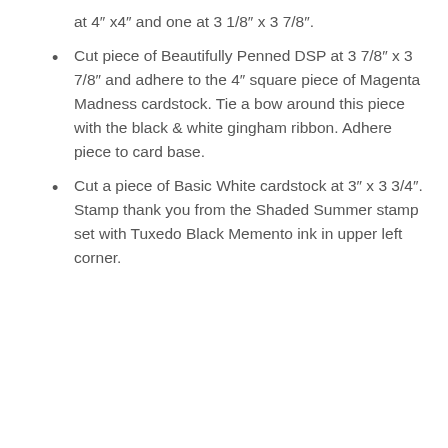at 4″ x4″ and one at 3 1/8″ x 3 7/8″.
Cut piece of Beautifully Penned DSP at 3 7/8″ x 3 7/8″ and adhere to the 4″ square piece of Magenta Madness cardstock. Tie a bow around this piece with the black & white gingham ribbon. Adhere piece to card base.
Cut a piece of Basic White cardstock at 3″ x 3 3/4″. Stamp thank you from the Shaded Summer stamp set with Tuxedo Black Memento ink in upper left corner.